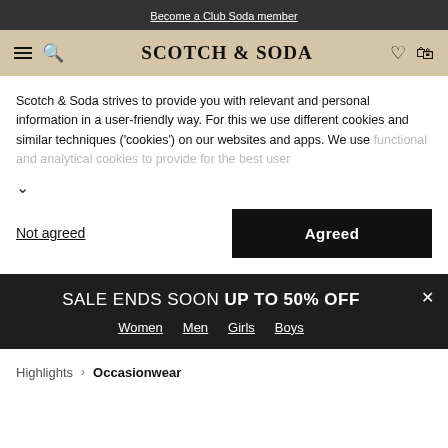Become a Club Soda member
SCOTCH & SODA
Scotch & Soda strives to provide you with relevant and personal information in a user-friendly way. For this we use different cookies and similar techniques ('cookies') on our websites and apps. We use functional and analytical cookies to provide for the best user
Not agreed
Agreed
SALE ENDS SOON UP TO 50% OFF
Women
Men
Girls
Boys
Highlights > Occasionwear